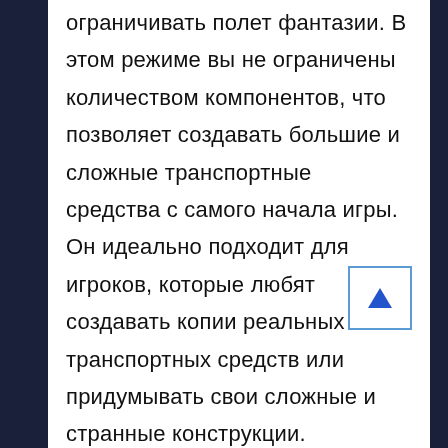ограничивать полет фантазии. В этом режиме вы не ограничены количеством компонентов, что позволяет создавать большие и сложные транспортные средства с самого начала игры. Он идеально подходит для игроков, которые любят создавать копии реальных транспортных средств или придумывать свои сложные и странные конструкции.
Режим карьеры
В режиме карьеры главное —